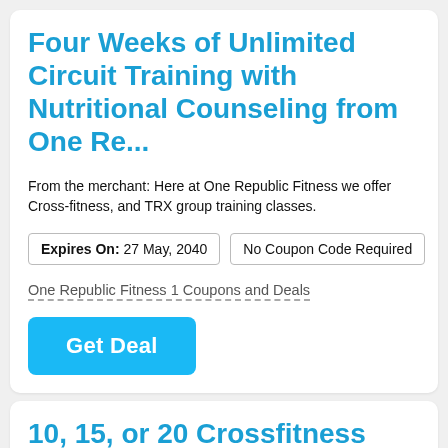Four Weeks of Unlimited Circuit Training with Nutritional Counseling from One Re...
From the merchant: Here at One Republic Fitness we offer Cross-fitness, and TRX group training classes.
Expires On: 27 May, 2040   No Coupon Code Required
One Republic Fitness 1 Coupons and Deals
Get Deal
10, 15, or 20 Crossfitness Classes or One Month of Unlimited Crossfitness at One...